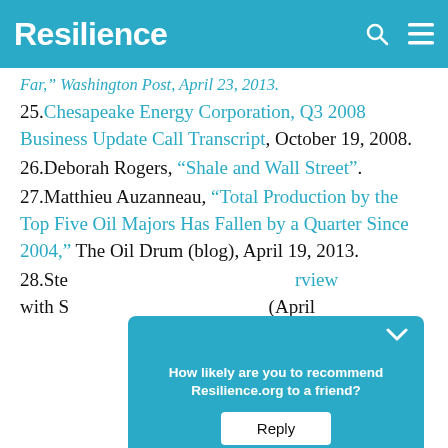Resilience
Far," Washington Post, April 23, 2013.
25. Chesapeake Energy Corporation, Q3 2008 Business Update Call Transcript, October 19, 2008.
26. Deborah Rogers, “Shale and Wall Street”.
27. Matthieu Auzanneau, “Total Production by the Top Five Oil Majors Has Fallen by a Quarter Since 2004,” The Oil Drum (blog), April 19, 2013.
28. Ste[ve...] interview with S[...] (April
[Figure (other): Survey popup overlay asking 'How likely are you to recommend Resilience.org to a friend?' with a Reply button, displayed over the page content.]